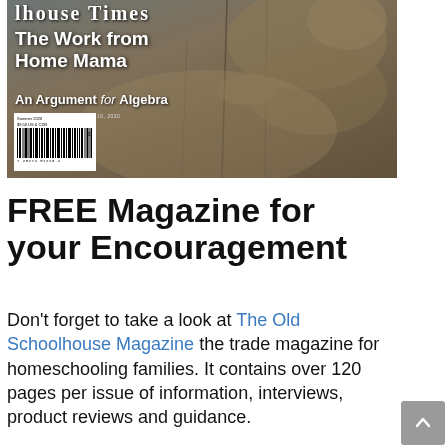[Figure (photo): Magazine cover of 'The Old Schoolhouse' showing a mountain lion or cougar on rocky terrain. Cover headlines include 'The Work from Home Mama' and 'An Argument for Algebra'. Includes a barcode and price label at bottom left.]
FREE Magazine for your Encouragement
Don't forget to take a look at The Old Schoolhouse Magazine the trade magazine for homeschooling families. It contains over 120 pages per issue of information, interviews, product reviews and guidance.